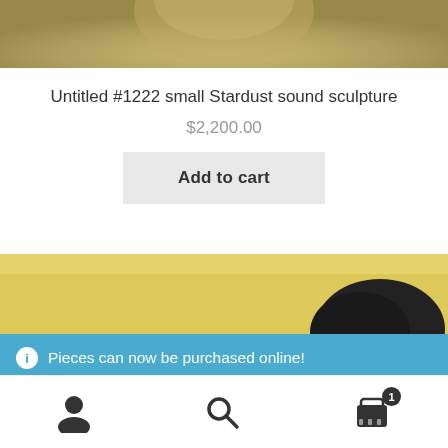[Figure (photo): Partial top view of a gold/beige colored sculptural object on white background]
Untitled #1222 small Stardust sound sculpture
$2,200.00
Add to cart
[Figure (photo): Gold/yellow background with dark sculptural object partially visible]
Pieces can now be purchased online!
Dismiss